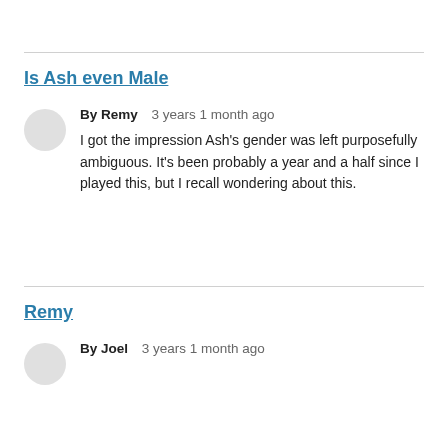Is Ash even Male
By Remy    3 years 1 month ago
I got the impression Ash's gender was left purposefully ambiguous. It's been probably a year and a half since I played this, but I recall wondering about this.
Remy
By Joel    3 years 1 month ago